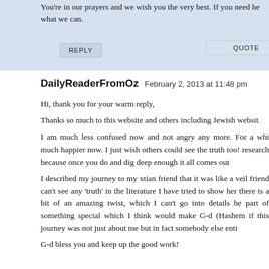You're in our prayers and we wish you the very best. If you need he what we can.
REPLY
QUOTE
DailyReaderFromOz   February 2, 2013 at 11:48 pm
Hi, thank you for your warm reply,

Thanks so much to this website and others including Jewish websit

I am much less confused now and not angry any more. For a whi much happier now. I just wish others could see the truth too! research because once you do and dig deep enough it all comes out
I described my journey to my xtian friend that it was like a veil friend can't see any 'truth' in the literature I have tried to show her there is a bit of an amazing twist, which I can't go into details he part of something special which I think would make G-d (Hashem if this journey was not just about me but in fact somebody else enti
G-d bless you and keep up the good work!